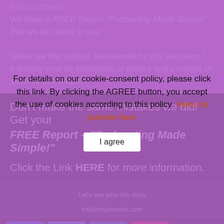For details on our cookie-consent policy, please click this link. By clicking the AGREE button, you accept the use of cookies according to this policy. View our policies here
I agree
Don’t make the same mistakes we did! Get your FREE Report – “Podcasting Made Simple!”
Click the Link HERE for more information.
Let's see wha this does
info@mydomain.com
0 SHARES